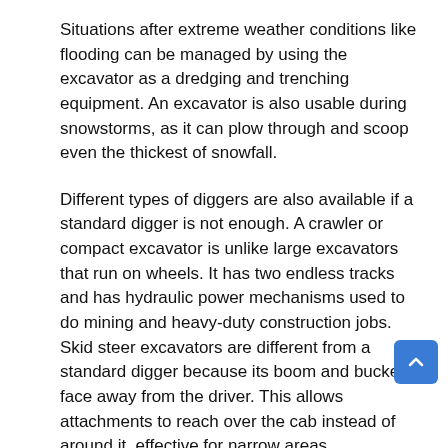Situations after extreme weather conditions like flooding can be managed by using the excavator as a dredging and trenching equipment. An excavator is also usable during snowstorms, as it can plow through and scoop even the thickest of snowfall.
Different types of diggers are also available if a standard digger is not enough. A crawler or compact excavator is unlike large excavators that run on wheels. It has two endless tracks and has hydraulic power mechanisms used to do mining and heavy-duty construction jobs. Skid steer excavators are different from a standard digger because its boom and bucket face away from the driver. This allows attachments to reach over the cab instead of around it, effective for narrow areas.
Choosing a digger can depend on a specific type of